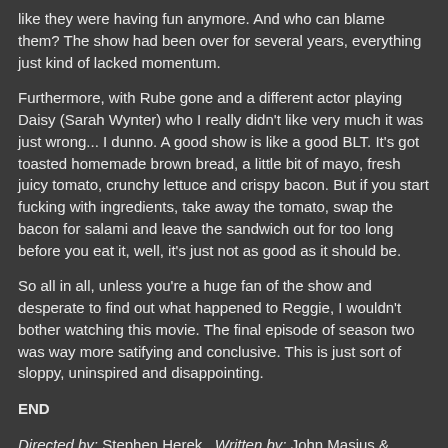like they were having fun anymore. And who can blame them? The show had been over for several years, everything just kind of lacked momentum.
Furthermore, with Rube gone and a different actor playing Daisy (Sarah Wynter) who I really didn't like very much it was just wrong... I dunno. A good show is like a good BLT. It's got toasted homemade brown bread, a little bit of mayo, fresh juicy tomato, crunchy lettuce and crispy bacon. But if you start fucking with ingredients, take away the tomato, swap the bacon for salami and leave the sandwich out for too long before you eat it, well, it's just not as good as it should be.
So all in all, unless you're a huge fan of the show and desperate to find out what happened to Reggie, I wouldn't bother watching this movie. The final episode of season two was way more satifying and conclusive. This is just sort of sloppy, uninspired and disappointing.
END
Directed by: Stephen Herek.  Written by: John Masius &